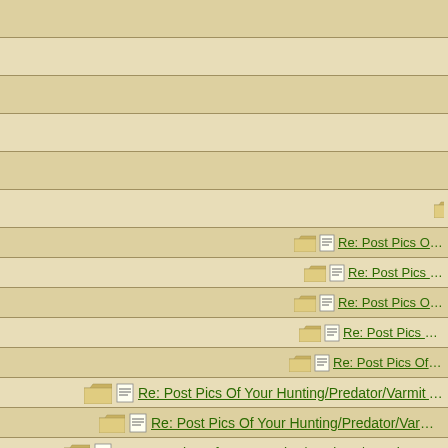Re: Post Pics Of Your Hunting/Predator/Varmit AR Here!!
Re: Post Pics Of Your Hunting/Predator/Varmit AR H...
Re: Post Pics Of Your Hunting/Predator/Varmit AR...
Re: Post Pics Of Your Hunting/Predator/Varmit A...
Re: Post Pics O... Hunting/Predator/Varmi...
Re: Post Pics ... Hunting/Predator/Var...
Re: Post Pics Of Your Hunting/Predator/Va...
Re: Post Pics Of Your Hunting/Predator/...
Re: Post Pics Of Your Hunting/Predator/Va...
Re: Post Pics Of Your Hunting/Predator/...
Re: Post Pics Of Your Hunting/Predator/Va...
Re: Post Pics Of Your Hunting/Predator/Varmit AR Here !!
Re: Post Pics Of Your Hunting/Predator/Varmit AR Here !!
Re: Post Pics Of Your Hunting/Predator/Varmit AR Here !!
Re: Post Pics Of Your Hunting/Predator/Varmit AR Here !!